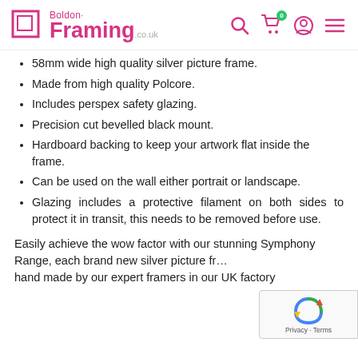Boldon Framing .co.uk — navigation header with search, cart, account, and menu icons
58mm wide high quality silver picture frame.
Made from high quality Polcore.
Includes perspex safety glazing.
Precision cut bevelled black mount.
Hardboard backing to keep your artwork flat inside the frame.
Can be used on the wall either portrait or landscape.
Glazing includes a protective filament on both sides to protect it in transit, this needs to be removed before use.
Easily achieve the wow factor with our stunning Symphony Range, each brand new silver picture frame hand made by our expert framers in our UK factory